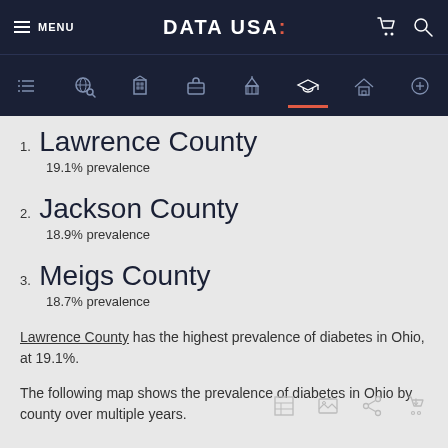MENU | DATA USA: [navigation icons]
1. Lawrence County
19.1% prevalence
2. Jackson County
18.9% prevalence
3. Meigs County
18.7% prevalence
Lawrence County has the highest prevalence of diabetes in Ohio, at 19.1%.
The following map shows the prevalence of diabetes in Ohio by county over multiple years.